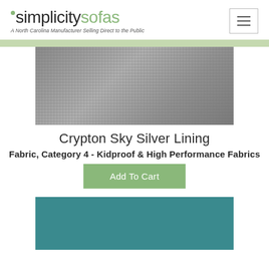simplicitysofas – A North Carolina Manufacturer Selling Direct to the Public
[Figure (photo): Close-up photo of a gray woven fabric texture (Crypton Sky Silver Lining)]
Crypton Sky Silver Lining
Fabric, Category 4 - Kidproof & High Performance Fabrics
Add To Cart
[Figure (photo): Close-up photo of a teal/dark cyan solid fabric texture]